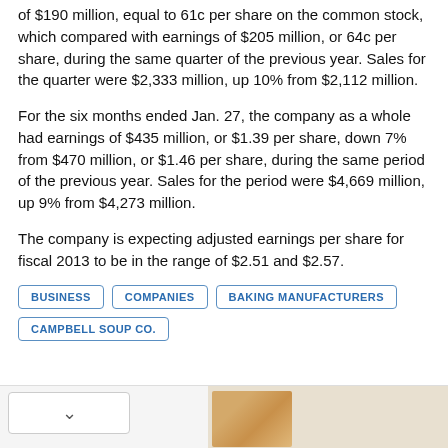of $190 million, equal to 61c per share on the common stock, which compared with earnings of $205 million, or 64c per share, during the same quarter of the previous year. Sales for the quarter were $2,333 million, up 10% from $2,112 million.
For the six months ended Jan. 27, the company as a whole had earnings of $435 million, or $1.39 per share, down 7% from $470 million, or $1.46 per share, during the same period of the previous year. Sales for the period were $4,669 million, up 9% from $4,273 million.
The company is expecting adjusted earnings per share for fiscal 2013 to be in the range of $2.51 and $2.57.
BUSINESS
COMPANIES
BAKING MANUFACTURERS
CAMPBELL SOUP CO.